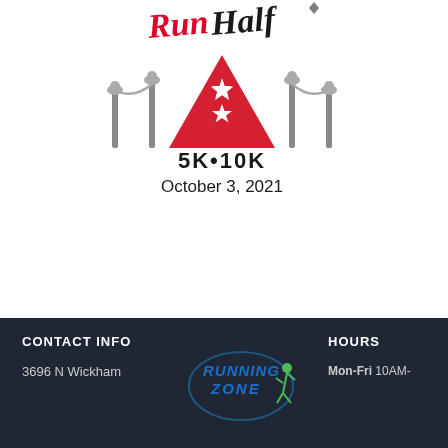[Figure (logo): Run Half race logo with script text 'Run Half', velvet rope barriers in gray, red triangle with two white stars, text '5K•10K' and 'October 3, 2021']
CONTACT INFO | Running Zone logo | HOURS | 3696 N Wickham | Mon-Fri 10AM-